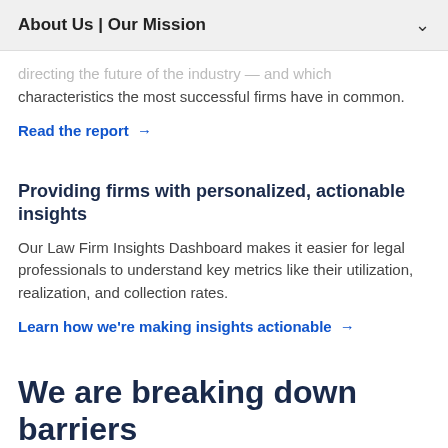About Us | Our Mission
directing the future of the industry — and which characteristics the most successful firms have in common.
Read the report →
Providing firms with personalized, actionable insights
Our Law Firm Insights Dashboard makes it easier for legal professionals to understand key metrics like their utilization, realization, and collection rates.
Learn how we're making insights actionable →
We are breaking down barriers